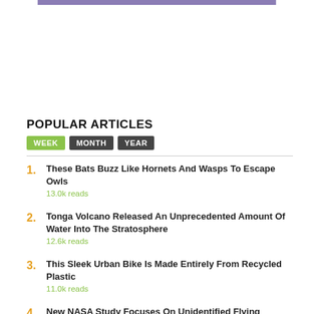[Figure (other): Purple decorative bar at top of page]
POPULAR ARTICLES
WEEK  MONTH  YEAR
1. These Bats Buzz Like Hornets And Wasps To Escape Owls — 13.0k reads
2. Tonga Volcano Released An Unprecedented Amount Of Water Into The Stratosphere — 12.6k reads
3. This Sleek Urban Bike Is Made Entirely From Recycled Plastic — 11.0k reads
4. New NASA Study Focuses On Unidentified Flying